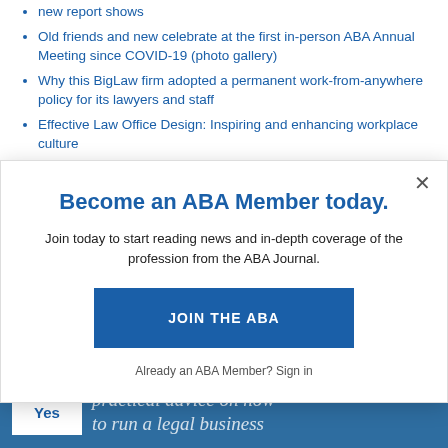new report shows
Old friends and new celebrate at the first in-person ABA Annual Meeting since COVID-19 (photo gallery)
Why this BigLaw firm adopted a permanent work-from-anywhere policy for its lawyers and staff
Effective Law Office Design: Inspiring and enhancing workplace culture
Give us feedback, share a story tip or update, or report an error.
Become an ABA Member today.
Join today to start reading news and in-depth coverage of the profession from the ABA Journal.
JOIN THE ABA
Already an ABA Member? Sign in
Yes  practical advice on how to run a legal business